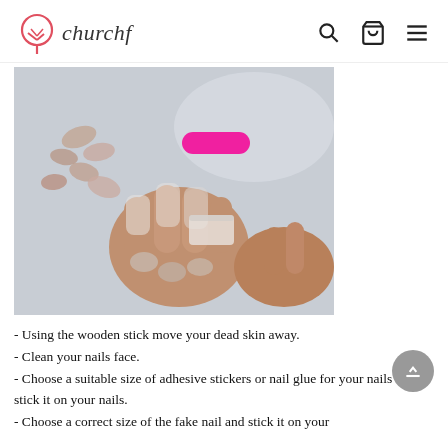churchf
[Figure (photo): Hands holding fake nails and adhesive tabs near a tray of assorted fake nails; a bright pink nail tip is visible in the background.]
- Using the wooden stick move your dead skin away.
- Clean your nails face.
- Choose a suitable size of adhesive stickers or nail glue for your nails and stick it on your nails.
- Choose a correct size of the fake nail and stick it on your